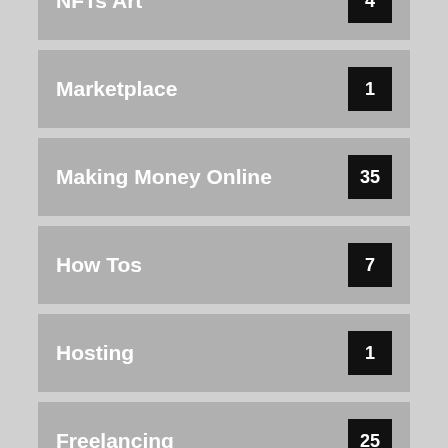NFTs Art 4
Marketplace 1
Making Money Online 35
How Tos 7
Hosting 1
Freelancing 25
Flipping business 2